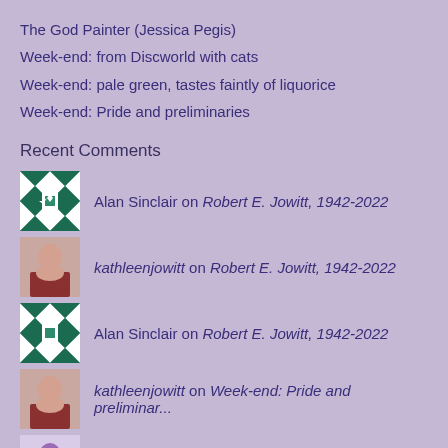The God Painter (Jessica Pegis)
Week-end: from Discworld with cats
Week-end: pale green, tastes faintly of liquorice
Week-end: Pride and preliminaries
Recent Comments
Alan Sinclair on Robert E. Jowitt, 1942-2022
kathleenjowitt on Robert E. Jowitt, 1942-2022
Alan Sinclair on Robert E. Jowitt, 1942-2022
kathleenjowitt on Week-end: Pride and preliminar...
margaretjowitt on Week-end: Pride and preliminar...